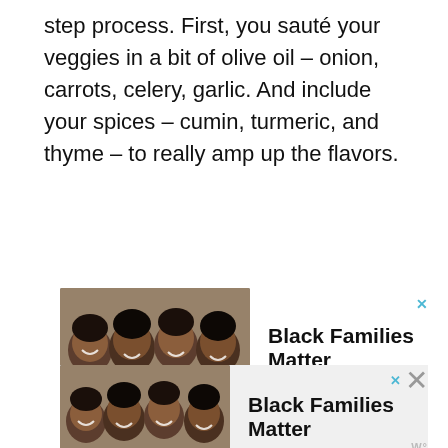step process. First, you sauté your veggies in a bit of olive oil – onion, carrots, celery, garlic. And include your spices – cumin, turmeric, and thyme – to really amp up the flavors.
[Figure (photo): Advertisement banner showing a group of smiling people lying down together with the text 'Black Families Matter' and a close (x) button in blue.]
[Figure (photo): Second advertisement banner showing the same group of smiling people with the text 'Black Families Matter', a blue x button, a large gray X, and a W° badge.]